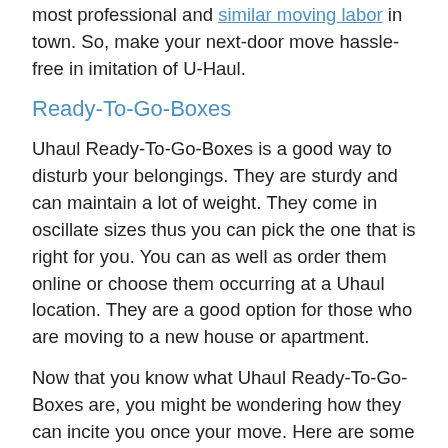most professional and similar moving labor in town. So, make your next-door move hassle-free in imitation of U-Haul.
Ready-To-Go-Boxes
Uhaul Ready-To-Go-Boxes is a good way to disturb your belongings. They are sturdy and can maintain a lot of weight. They come in oscillate sizes thus you can pick the one that is right for you. You can as well as order them online or choose them occurring at a Uhaul location. They are a good option for those who are moving to a new house or apartment.
Now that you know what Uhaul Ready-To-Go-Boxes are, you might be wondering how they can incite you once your move. Here are some of the benefits: